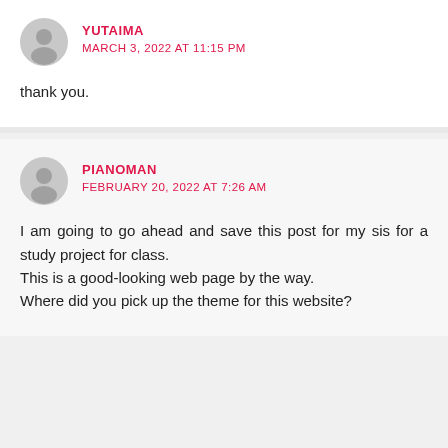YUTAIMA
MARCH 3, 2022 AT 11:15 PM
thank you.
PIANOMAN
FEBRUARY 20, 2022 AT 7:26 AM
I am going to go ahead and save this post for my sis for a study project for class. This is a good-looking web page by the way. Where did you pick up the theme for this website?